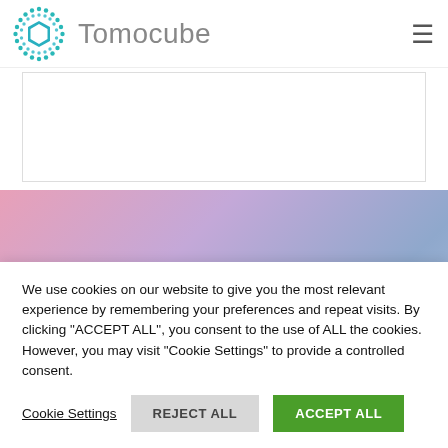Tomocube
[Figure (illustration): Tomocube logo: teal circular dotted ring with white hexagon in center, next to 'Tomocube' wordmark in gray]
[Figure (screenshot): Website screenshot partial content area with white background and gray border]
[Figure (photo): Gradient banner with pink-purple-blue gradient background and large red bold text 'CYTO' partially visible]
We use cookies on our website to give you the most relevant experience by remembering your preferences and repeat visits. By clicking "ACCEPT ALL", you consent to the use of ALL the cookies. However, you may visit "Cookie Settings" to provide a controlled consent.
Cookie Settings   REJECT ALL   ACCEPT ALL